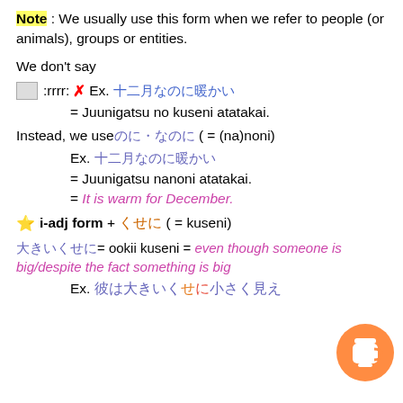Note : We usually use this form when we refer to people (or animals), groups or entities.
We don't say
[img]:rrrr:  ✗ Ex. [Japanese text]
= Juunigatsu no kuseni atatakai.
Instead, we use[Japanese] ( = (na)noni)
Ex. [Japanese text]
= Juunigatsu nanoni atatakai.
= It is warm for December.
⭐ i-adj form + [Japanese] ( = kuseni)
[Japanese]= ookii kuseni = even though someone is big/despite the fact something is big
Ex. [Japanese text]